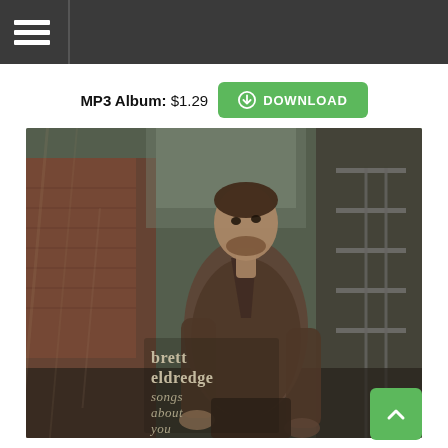Navigation menu header bar
MP3 Album: $1.29  DOWNLOAD
[Figure (photo): Album cover for Brett Eldredge 'Songs About You' — a man in a brown tweed suit stands in an urban alley with brick buildings and fire escapes, motion-blurred background. Text overlay reads 'brett eldredge songs about you'.]